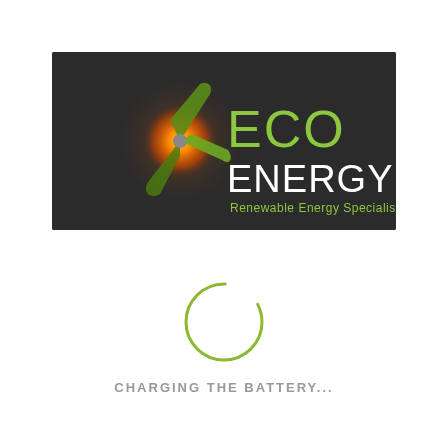[Figure (logo): Eco Energy logo on dark background: wind turbine icon with orange glowing sun and green blades, text 'ECO ENERGY' in large white/green letters, subtitle 'Renewable Energy Specialists' in green]
[Figure (other): Green circular loading spinner graphic — incomplete circle outline in olive/lime green color]
CHARGING THE BATTERY...